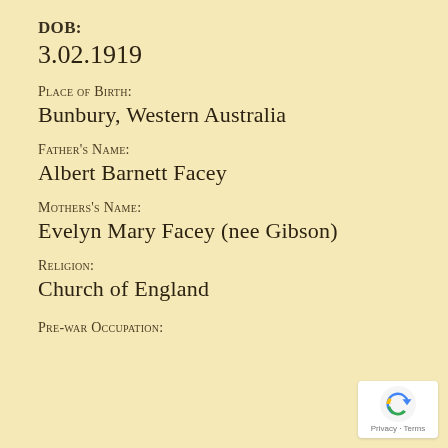DOB:
3.02.1919
Place of Birth:
Bunbury, Western Australia
Father's Name:
Albert Barnett Facey
Mothers's Name:
Evelyn Mary Facey (nee Gibson)
Religion:
Church of England
Pre-war Occupation:
[Figure (logo): reCAPTCHA badge with Privacy and Terms text]